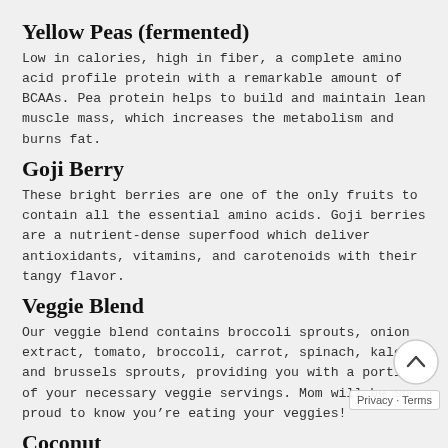Yellow Peas (fermented)
Low in calories, high in fiber, a complete amino acid profile protein with a remarkable amount of BCAAs. Pea protein helps to build and maintain lean muscle mass, which increases the metabolism and burns fat.
Goji Berry
These bright berries are one of the only fruits to contain all the essential amino acids. Goji berries are a nutrient-dense superfood which deliver antioxidants, vitamins, and carotenoids with their tangy flavor.
Veggie Blend
Our veggie blend contains broccoli sprouts, onion extract, tomato, broccoli, carrot, spinach, kale, and brussels sprouts, providing you with a portion of your necessary veggie servings. Mom will be so proud to know you're eating your veggies!
Coconut
Coconuts contain essential fatty acids existing in ju right amount to be burned as energy, rather than stored as